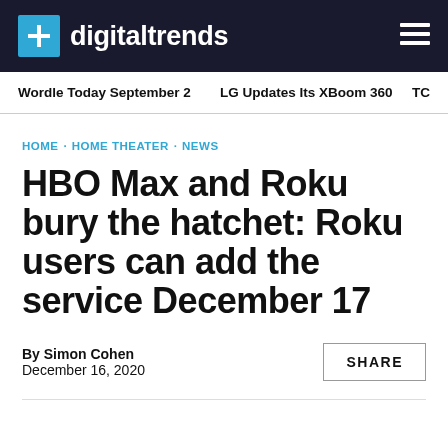digitaltrends
Wordle Today September 2   LG Updates Its XBoom 360   TC
HOME · HOME THEATER · NEWS
HBO Max and Roku bury the hatchet: Roku users can add the service December 17
By Simon Cohen
December 16, 2020